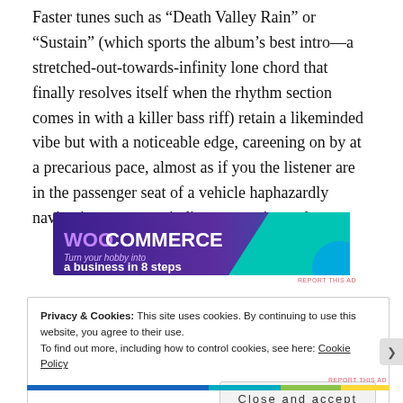Faster tunes such as “Death Valley Rain” or “Sustain” (which sports the album’s best intro—a stretched-out-towards-infinity lone chord that finally resolves itself when the rhythm section comes in with a killer bass riff) retain a likeminded vibe but with a noticeable edge, careening on by at a precarious pace, almost as if you the listener are in the passenger seat of a vehicle haphazardly navigating a steep, winding mountain road.
[Figure (other): WooCommerce advertisement banner: 'Turn your hobby into a business in 8 steps']
REPORT THIS AD
Privacy & Cookies: This site uses cookies. By continuing to use this website, you agree to their use.
To find out more, including how to control cookies, see here: Cookie Policy
Close and accept